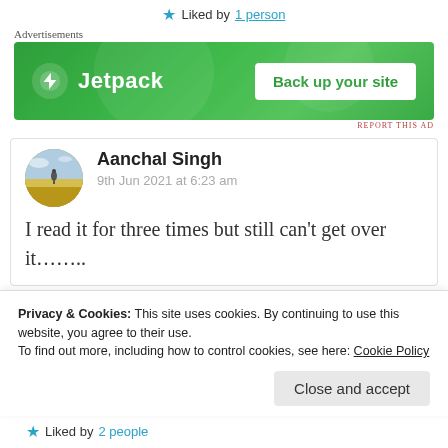★ Liked by 1 person
Advertisements
[Figure (illustration): Jetpack advertisement banner with green background, Jetpack logo on left and 'Back up your site' button on right]
REPORT THIS AD
Aanchal Singh
9th Jun 2021 at 6:23 am
I read it for three times but still can't get over it........
Privacy & Cookies: This site uses cookies. By continuing to use this website, you agree to their use.
To find out more, including how to control cookies, see here: Cookie Policy
Close and accept
★ Liked by 2 people